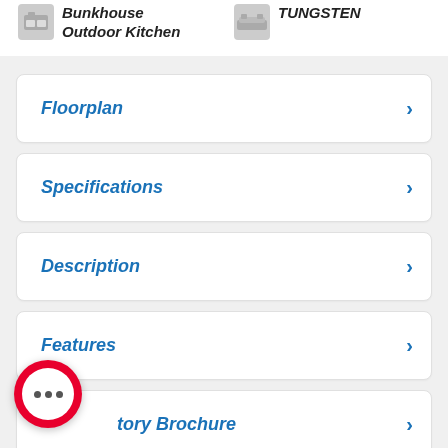Bunkhouse Outdoor Kitchen
TUNGSTEN
Floorplan
Specifications
Description
Features
tory Brochure